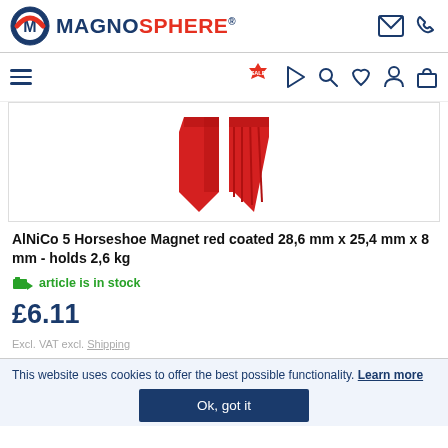MAGNOSPHERE®
[Figure (logo): Magnosphere circular logo with M letter in red and blue]
[Figure (photo): Red coated AlNiCo horseshoe magnet product photo, two red horseshoe magnet pieces]
AlNiCo 5 Horseshoe Magnet red coated 28,6 mm x 25,4 mm x 8 mm - holds 2,6 kg
article is in stock
£6.11
Excl. VAT excl. Shipping
This website uses cookies to offer the best possible functionality. Learn more
Ok, got it